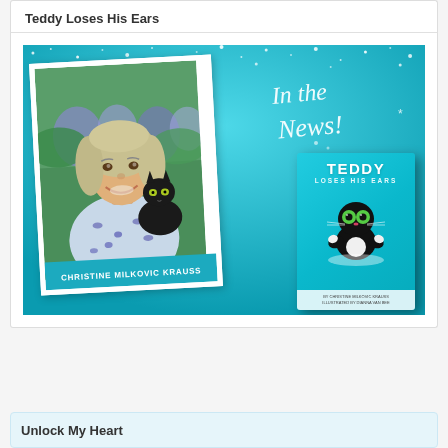Teddy Loses His Ears
[Figure (illustration): Promotional image with teal/cyan sparkly background. Left side shows a polaroid-style photo of author Christine Milkovic Krauss (smiling blonde woman holding a black cat) with her name in a teal banner. Right side shows cursive 'In the News!' text and a book cover for 'TEDDY LOSES HIS EARS' featuring a cartoon black and white cat illustration.]
Unlock My Heart